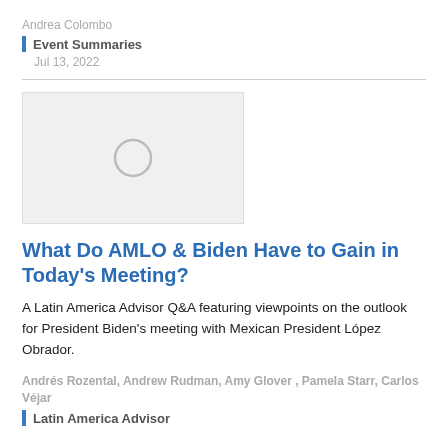Andrea Colombo
Event Summaries
Jul 13, 2022
[Figure (photo): Image placeholder with a circle icon on a light gray background]
What Do AMLO & Biden Have to Gain in Today's Meeting?
A Latin America Advisor Q&A featuring viewpoints on the outlook for President Biden's meeting with Mexican President López Obrador.
Andrés Rozental, Andrew Rudman, Amy Glover , Pamela Starr, Carlos Véjar
Latin America Advisor